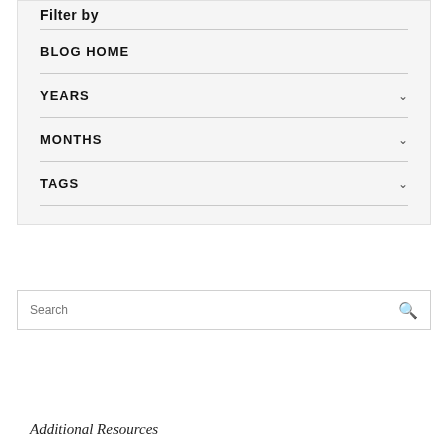Filter by
BLOG HOME
YEARS
MONTHS
TAGS
Search
Additional Resources